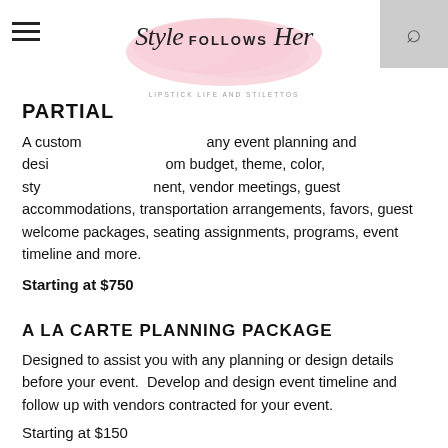[Figure (logo): Style Follows Her logo with pink watercolor blob background and tagline LIPSTICK LIFE AND STILETTOS]
PARTIAL
A custom [partially obscured] any event planning and design [partially obscured] om budget, theme, color, sty [partially obscured] nent, vendor meetings, guest accommodations, transportation arrangements, favors, guest welcome packages, seating assignments, programs, event timeline and more.
Starting at $750
A LA CARTE PLANNING PACKAGE
Designed to assist you with any planning or design details before your event.  Develop and design event timeline and follow up with vendors contracted for your event.
Starting at $150